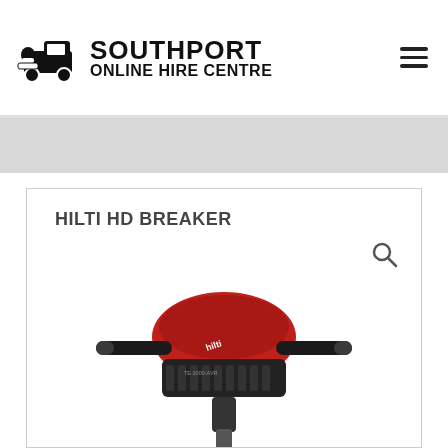SOUTHPORT ONLINE HIRE CENTRE
HILTI HD BREAKER
[Figure (photo): Hilti HD Breaker tool (red and black heavy-duty electric breaker/demolition hammer) shown from above at an angle, with handle bars visible on both sides. Model text visible on body reading TE 3000-AVR.]